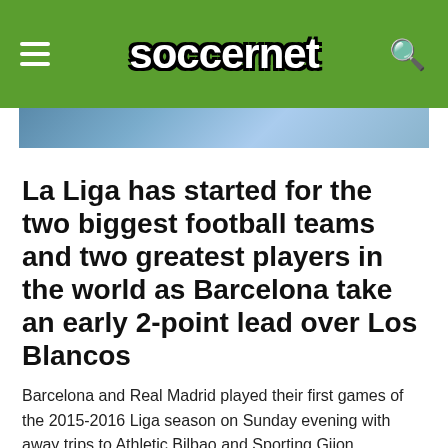soccernet
[Figure (photo): Partial photo visible behind green header bar, appears to be a sports/football image]
La Liga has started for the two biggest football teams and two greatest players in the world as Barcelona take an early 2-point lead over Los Blancos
Barcelona and Real Madrid played their first games of the 2015-2016 Liga season on Sunday evening with away trips to Athletic Bilbao and Sporting Gijon respectively, but they returned home with different results.
[Figure (other): Advertisement box, light yellow/cream colored]